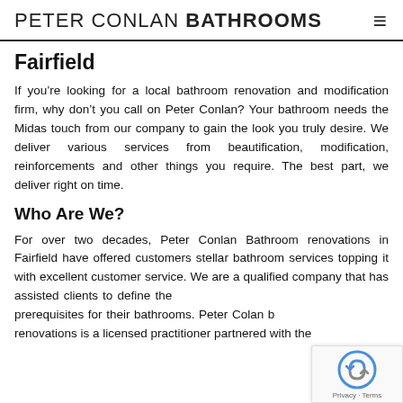PETER CONLAN BATHROOMS ≡
Fairfield
If you're looking for a local bathroom renovation and modification firm, why don't you call on Peter Conlan? Your bathroom needs the Midas touch from our company to gain the look you truly desire. We deliver various services from beautification, modification, reinforcements and other things you require. The best part, we deliver right on time.
Who Are We?
For over two decades, Peter Conlan Bathroom renovations in Fairfield have offered customers stellar bathroom services topping it with excellent customer service. We are a qualified company that has assisted clients to define the prerequisites for their bathrooms. Peter Colan b renovations is a licensed practitioner partnered with the